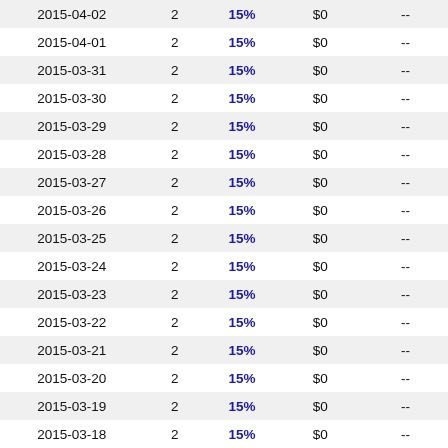| 2015-04-02 | 2 | 15% | $0 | -- |
| 2015-04-01 | 2 | 15% | $0 | -- |
| 2015-03-31 | 2 | 15% | $0 | -- |
| 2015-03-30 | 2 | 15% | $0 | -- |
| 2015-03-29 | 2 | 15% | $0 | -- |
| 2015-03-28 | 2 | 15% | $0 | -- |
| 2015-03-27 | 2 | 15% | $0 | -- |
| 2015-03-26 | 2 | 15% | $0 | -- |
| 2015-03-25 | 2 | 15% | $0 | -- |
| 2015-03-24 | 2 | 15% | $0 | -- |
| 2015-03-23 | 2 | 15% | $0 | -- |
| 2015-03-22 | 2 | 15% | $0 | -- |
| 2015-03-21 | 2 | 15% | $0 | -- |
| 2015-03-20 | 2 | 15% | $0 | -- |
| 2015-03-19 | 2 | 15% | $0 | -- |
| 2015-03-18 | 2 | 15% | $0 | -- |
| 2015-03-17 | 2 | 15% | $0 | -- |